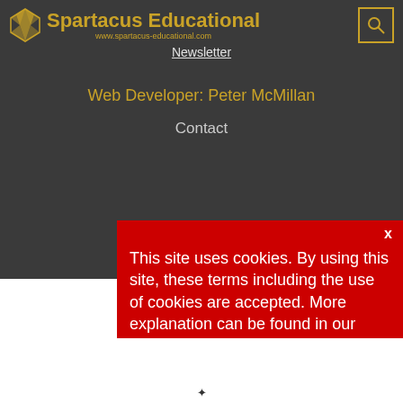Spartacus Educational www.spartacus-educational.com Newsletter
Web Developer: Peter McMillan
Contact
This site uses cookies. By using this site, these terms including the use of cookies are accepted. More explanation can be found in our